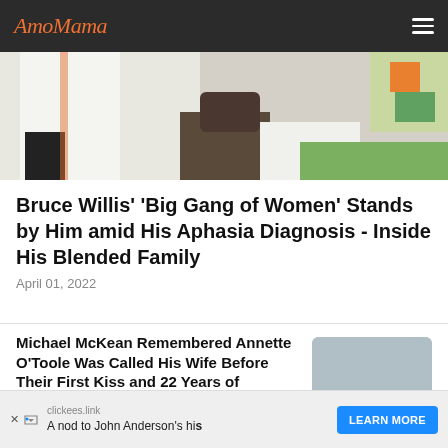AmoMama
[Figure (photo): Partial view of a group photo outdoors on grass, showing lower portions of people in white clothing and dark shoes, with white fluffy material visible.]
Bruce Willis' 'Big Gang of Women' Stands by Him amid His Aphasia Diagnosis - Inside His Blended Family
April 01, 2022
Michael McKean Remembered Annette O'Toole Was Called His Wife Before Their First Kiss and 22 Years of Marriage
February 05, 2022
[Figure (photo): Thumbnail image placeholder (gray rectangle) for the Michael McKean article.]
clickees.link
A nod to John Anderson's hi s
LEARN MORE